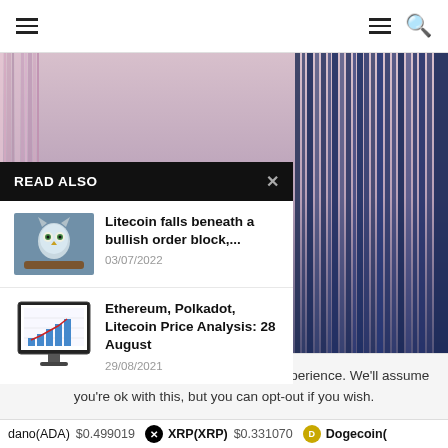[Figure (photo): Abstract vertical color streaks photo in pink, purple and dark blue tones used as background]
READ ALSO
[Figure (photo): Thumbnail of an owl perched on a branch]
Litecoin falls beneath a bullish order block,...
03/07/2022
[Figure (screenshot): Thumbnail of a computer monitor showing a bar/line chart with red upward trend]
Ethereum, Polkadot, Litecoin Price Analysis: 28 August
29/08/2021
This website uses cookies to improve your experience. We'll assume you're ok with this, but you can opt-out if you wish.
dano(ADA) $0.499019   XRP(XRP) $0.331070   Dogecoin(